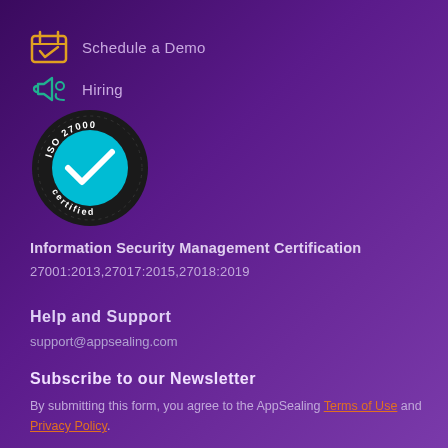Schedule a Demo
Hiring
[Figure (logo): ISO 27000 certified badge — black circular badge with cyan checkmark and 'ISO 27000 certified' text]
Information Security Management Certification
27001:2013,27017:2015,27018:2019
Help and Support
support@appsealing.com
Subscribe to our Newsletter
By submitting this form, you agree to the AppSealing Terms of Use and Privacy Policy.